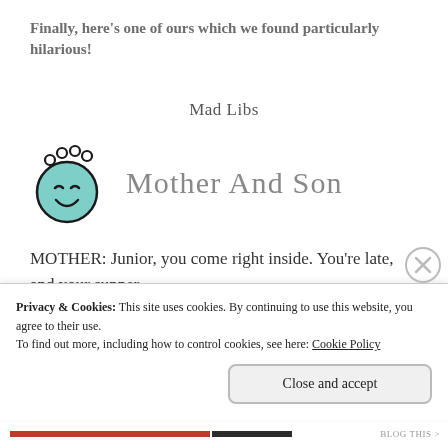Finally, here's one of ours which we found particularly hilarious!
Mad Libs
[Figure (logo): Cartoon baby face logo with teal round head, curly hair beads, closed smiling eyes, next to text 'Mother And Son']
MOTHER: Junior, you come right inside. You're late, and your supper
Privacy & Cookies: This site uses cookies. By continuing to use this website, you agree to their use.
To find out more, including how to control cookies, see here: Cookie Policy
Close and accept